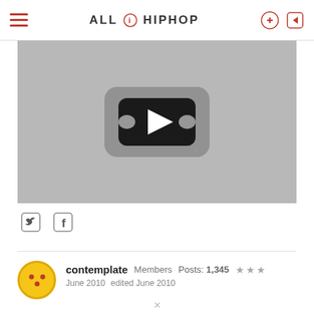ALL HIP HOP
[Figure (screenshot): Video thumbnail showing a YouTube-style play button on a gray background]
[Figure (other): Social share icons: Twitter bird and Facebook f]
contemplate   Members   Posts: 1,345   ★★★   June 2010   edited June 2010